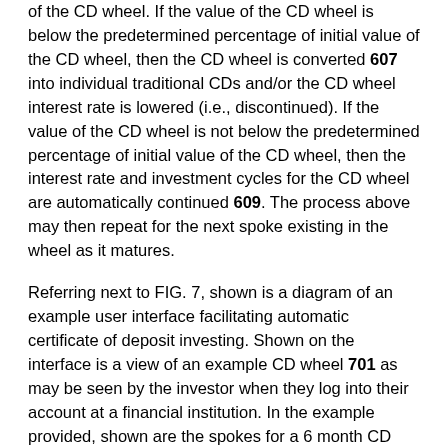of the CD wheel. If the value of the CD wheel is below the predetermined percentage of initial value of the CD wheel, then the CD wheel is converted 607 into individual traditional CDs and/or the CD wheel interest rate is lowered (i.e., discontinued). If the value of the CD wheel is not below the predetermined percentage of initial value of the CD wheel, then the interest rate and investment cycles for the CD wheel are automatically continued 609. The process above may then repeat for the next spoke existing in the wheel as it matures.
Referring next to FIG. 7, shown is a diagram of an example user interface facilitating automatic certificate of deposit investing. Shown on the interface is a view of an example CD wheel 701 as may be seen by the investor when they log into their account at a financial institution. In the example provided, shown are the spokes for a 6 month CD wheel with 6 spokes 703. Also shown is the total current value 709 of the CD wheel 701. This interface automatically updates with the values of each spoke and total CD wheel value as the values change and interest is calculated. Note also, that there are action menus 707 next to each spoke of the CD wheel for the investor to select various options that are then automatically implemented.